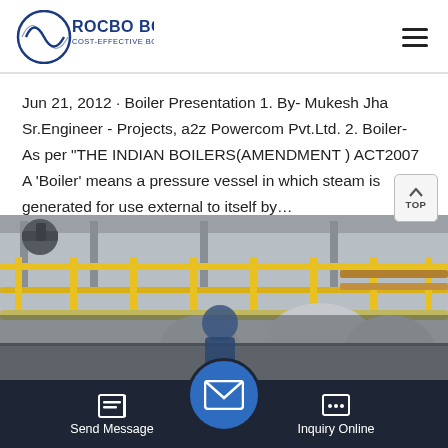[Figure (logo): Rocbo Boiler logo with circular wave icon and text 'ROCBO BOILER COST-EFFECTIVE BOILER SUPPLIER' in blue]
Jun 21, 2012 · Boiler Presentation 1. By- Mukesh Jha Sr.Engineer - Projects, a2z Powercom Pvt.Ltd. 2. Boiler- As per "THE INDIAN BOILERS(AMENDMENT ) ACT2007 A 'Boiler' means a pressure vessel in which steam is generated for use external to itself by…
[Figure (illustration): Industrial boiler facility interior showing yellow safety railings, pipes, and industrial equipment in a large hall]
Send Message  Inquiry Online